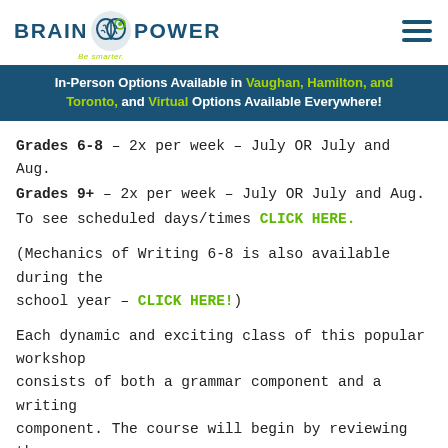BRAIN POWER Be smarter. [hamburger menu icon]
In-Person Options Available in Vaughan, Hamilton, and Toronto, and Virtual Options Available Everywhere!
Grades 6-8 – 2x per week – July OR July and Aug.
Grades 9+ – 2x per week – July OR July and Aug.
To see scheduled days/times CLICK HERE.
(Mechanics of Writing 6-8 is also available during the school year – CLICK HERE!)
Each dynamic and exciting class of this popular workshop consists of both a grammar component and a writing component. The course will begin by reviewing the fundamentals of English grammar, the writing process (i.e. brainstorming, drafting, revising, etc.), and the structure of the five-paragraph essay (of the sort that they are